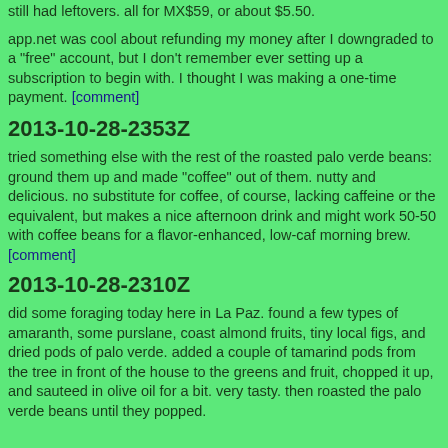still had leftovers. all for MX$59, or about $5.50.
app.net was cool about refunding my money after I downgraded to a "free" account, but I don't remember ever setting up a subscription to begin with. I thought I was making a one-time payment. [comment]
2013-10-28-2353Z
tried something else with the rest of the roasted palo verde beans: ground them up and made "coffee" out of them. nutty and delicious. no substitute for coffee, of course, lacking caffeine or the equivalent, but makes a nice afternoon drink and might work 50-50 with coffee beans for a flavor-enhanced, low-caf morning brew. [comment]
2013-10-28-2310Z
did some foraging today here in La Paz. found a few types of amaranth, some purslane, coast almond fruits, tiny local figs, and dried pods of palo verde. added a couple of tamarind pods from the tree in front of the house to the greens and fruit, chopped it up, and sauteed in olive oil for a bit. very tasty. then roasted the palo verde beans until they popped.